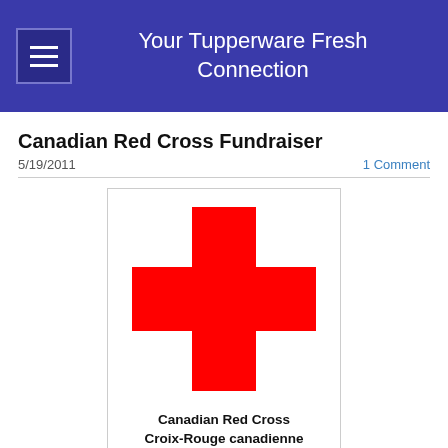Your Tupperware Fresh Connection
Canadian Red Cross Fundraiser
5/19/2011
1 Comment
[Figure (logo): Canadian Red Cross logo: a large red cross on white background with text 'Canadian Red Cross Croix-Rouge canadienne' below]
Canadian Red Cross Fundraiser